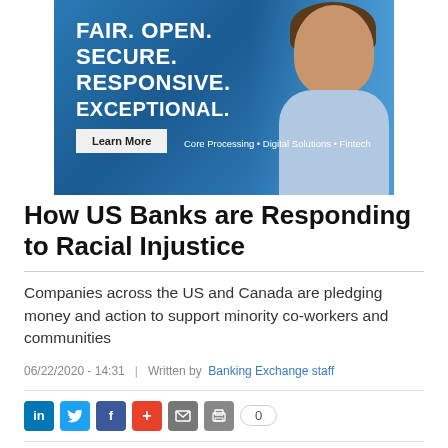[Figure (illustration): Advertisement banner with blue gradient background showing a professional woman. Text reads 'FAIR. OPEN. SECURE. RESPONSIVE. EXCEPTIONAL.' with a 'Learn More' button and tagline 'Core Processing • Digital Solutions • Fintech']
How US Banks are Responding to Racial Injustice
Companies across the US and Canada are pledging money and action to support minority co-workers and communities
06/22/2020 - 14:31  |  Written by  Banking Exchange staff